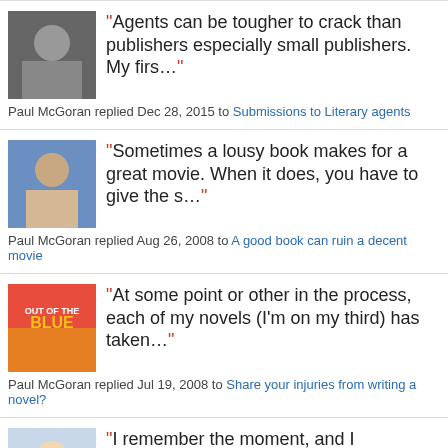"Agents can be tougher to crack than publishers especially small publishers. My firs…" Paul McGoran replied Dec 28, 2015 to Submissions to Literary agents
"Sometimes a lousy book makes for a great movie. When it does, you have to give the s…" Paul McGoran replied Aug 26, 2008 to A good book can ruin a decent movie
"At some point or other in the process, each of my novels (I'm on my third) has taken…" Paul McGoran replied Jul 19, 2008 to Share your injuries from writing a novel?
"I remember the moment, and I remember jumping out of my seat. And BTW, I think that…" Paul McGoran replied Jul 15, 2008 to The Most Riveting Movie Moment Ever
"Hey Carole, Ya know, I just saw Postman again…